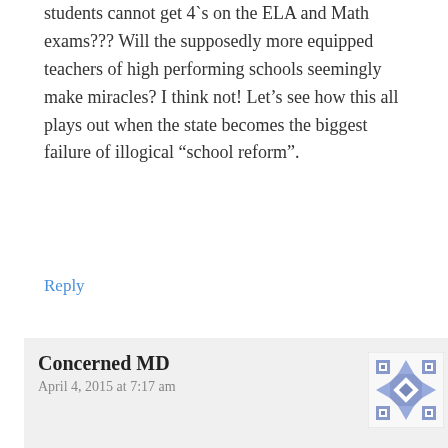students cannot get 4`s on the ELA and Math exams??? Will the supposedly more equipped teachers of high performing schools seemingly make miracles? I think not! Let’s see how this all plays out when the state becomes the biggest failure of illogical “school reform”.
Reply
Concerned MD
April 4, 2015 at 7:17 am
[Figure (illustration): Avatar image for commenter Concerned MD — a geometric quilt-pattern style avatar in shades of gray and blue/purple on a white background]
If there are certain schools that do really well period, why exempt them? How is making them take the same test everyone else is being subjected to disrespect? Why are the parents of the well to do organizing and protesting that their children will not take these exams? Because these exams are